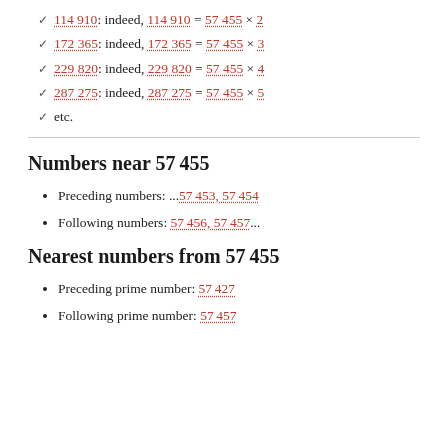✓ 114 910: indeed, 114 910 = 57 455 × 2
✓ 172 365: indeed, 172 365 = 57 455 × 3
✓ 229 820: indeed, 229 820 = 57 455 × 4
✓ 287 275: indeed, 287 275 = 57 455 × 5
✓ etc.
Numbers near 57 455
Preceding numbers: ...57 453, 57 454
Following numbers: 57 456, 57 457...
Nearest numbers from 57 455
Preceding prime number: 57 427
Following prime number: 57 457